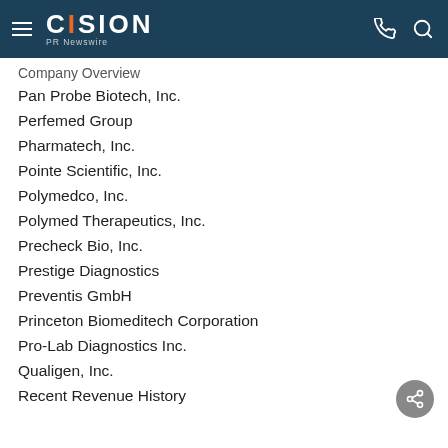CISION PR Newswire
Company Overview
Pan Probe Biotech, Inc.
Perfemed Group
Pharmatech, Inc.
Pointe Scientific, Inc.
Polymedco, Inc.
Polymed Therapeutics, Inc.
Precheck Bio, Inc.
Prestige Diagnostics
Preventis GmbH
Princeton Biomeditech Corporation
Pro-Lab Diagnostics Inc.
Qualigen, Inc.
Recent Revenue History